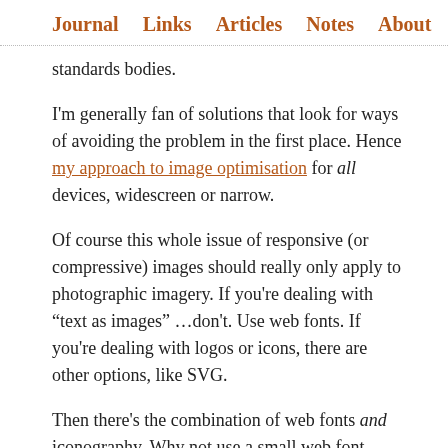Journal  Links  Articles  Notes  About
standards bodies.
I'm generally fan of solutions that look for ways of avoiding the problem in the first place. Hence my approach to image optimisation for all devices, widescreen or narrow.
Of course this whole issue of responsive (or compressive) images should really only apply to photographic imagery. If you're dealing with “text as images” …don't. Use web fonts. If you're dealing with logos or icons, there are other options, like SVG.
Then there's the combination of web fonts and iconography. Why not use a small web font containing just the icons you need?
I tried this recently, diligently following Josh's excellent blog post detailing how to get icon shapes out of Fireworks, into a